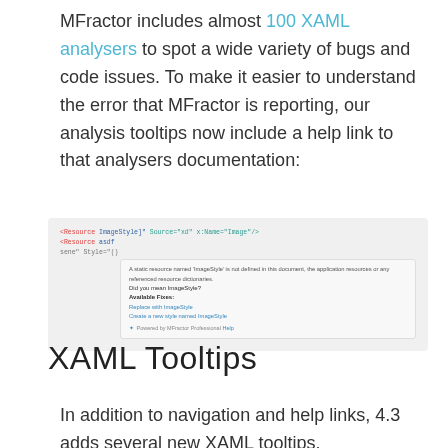MFractor includes almost 100 XAML analysers to spot a wide variety of bugs and code issues. To make it easier to understand the error that MFractor is reporting, our analysis tooltips now include a help link to that analysers documentation:
[Figure (screenshot): Screenshot of MFractor IDE tooltip showing a XAML analyser error with available fixes and help link]
XAML Tooltips
In addition to navigation and help links, 4.3 adds several new XAML tooltips.